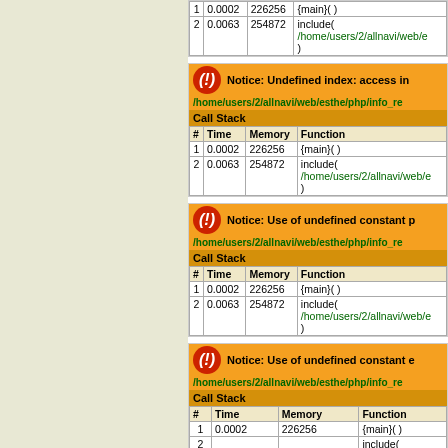| # | Time | Memory | Function |
| --- | --- | --- | --- |
| 1 | 0.0002 | 226256 | {main}( ) |
| 2 | 0.0063 | 254872 | include( '/home/users/2/allnavi/web/e... ) |
Notice: Undefined index: access in /home/users/2/allnavi/web/esthe/php/info_re...
| # | Time | Memory | Function |
| --- | --- | --- | --- |
| 1 | 0.0002 | 226256 | {main}( ) |
| 2 | 0.0063 | 254872 | include( '/home/users/2/allnavi/web/e... ) |
Notice: Use of undefined constant p... /home/users/2/allnavi/web/esthe/php/info_re...
| # | Time | Memory | Function |
| --- | --- | --- | --- |
| 1 | 0.0002 | 226256 | {main}( ) |
| 2 | 0.0063 | 254872 | include( '/home/users/2/allnavi/web/e... ) |
Notice: Use of undefined constant e... /home/users/2/allnavi/web/esthe/php/info_re...
| # | Time | Memory | Function |
| --- | --- | --- | --- |
| 1 | 0.0002 | 226256 | {main}( ) |
| 2 | 0.0063 | 254872 | include( |